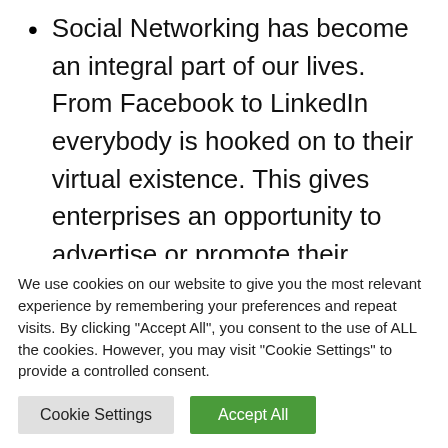Social Networking has become an integral part of our lives. From Facebook to LinkedIn everybody is hooked on to their virtual existence. This gives enterprises an opportunity to advertise or promote their products on the internet and social networking sites.
Not just Social networking, personal blogs have also gained a lot of heat in the past few years.
We use cookies on our website to give you the most relevant experience by remembering your preferences and repeat visits. By clicking "Accept All", you consent to the use of ALL the cookies. However, you may visit "Cookie Settings" to provide a controlled consent.